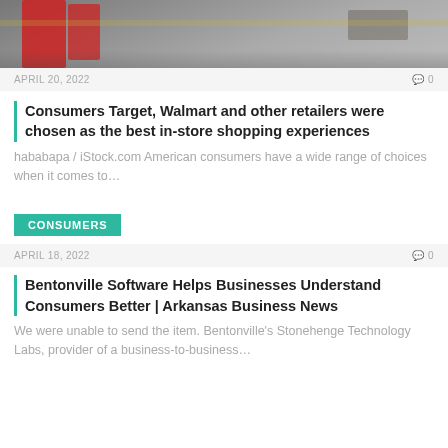[Figure (photo): Photo of red Target shopping carts in a parking lot]
APRIL 20, 2022   💬0
Consumers Target, Walmart and other retailers were chosen as the best in-store shopping experiences
hababapa / iStock.com American consumers have a wide range of choices when it comes to…
CONSUMERS
APRIL 18, 2022   💬0
Bentonville Software Helps Businesses Understand Consumers Better | Arkansas Business News
We were unable to send the item. Bentonville's Stonehenge Technology Labs, provider of a business-to-business…